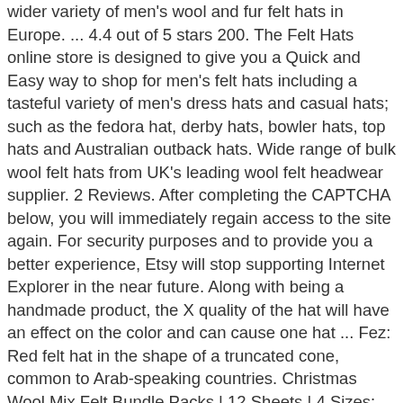wider variety of men's wool and fur felt hats in Europe. ... 4.4 out of 5 stars 200. The Felt Hats online store is designed to give you a Quick and Easy way to shop for men's felt hats including a tasteful variety of men's dress hats and casual hats; such as the fedora hat, derby hats, bowler hats, top hats and Australian outback hats. Wide range of bulk wool felt hats from UK's leading wool felt headwear supplier. 2 Reviews. After completing the CAPTCHA below, you will immediately regain access to the site again. For security purposes and to provide you a better experience, Etsy will stop supporting Internet Explorer in the near future. Along with being a handmade product, the X quality of the hat will have an effect on the color and can cause one hat ... Fez: Red felt hat in the shape of a truncated cone, common to Arab-speaking countries. Christmas Wool Mix Felt Bundle Packs | 12 Sheets | 4 Sizes: 30x22 ("A4"), 22x22, 22x11 or 10x10cm | ... Grosvenor Wool Felt Fedora. Felt Hats. There are a few reasons this might happen: To regain access, please make sure that cookies and JavaScript are enabled before reloading the page. As you were browsing something about your browser made us think you were a bot. Quickview. Our felt cowboy hats specialists are standing by at the ready to answer any questions - just call our hat ... Well you're in luck, because here they come. VAT (2) The most popular colour? A valuable felt hat is a classy wardrobe essential for both women and men. Made